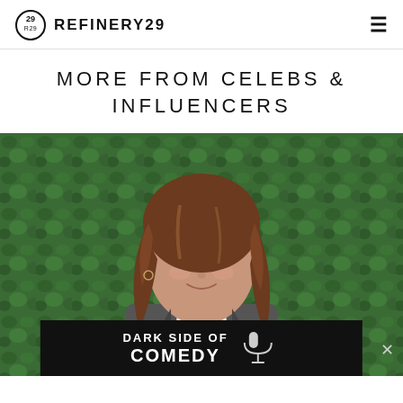REFINERY29
MORE FROM CELEBS & INFLUENCERS
[Figure (photo): Young woman with long brown wavy hair, wearing a grey blazer over a white shirt, smiling, standing in front of a green leafy hedge backdrop. An advertisement overlay at the bottom reads 'DARK SIDE OF COMEDY' with a microphone icon.]